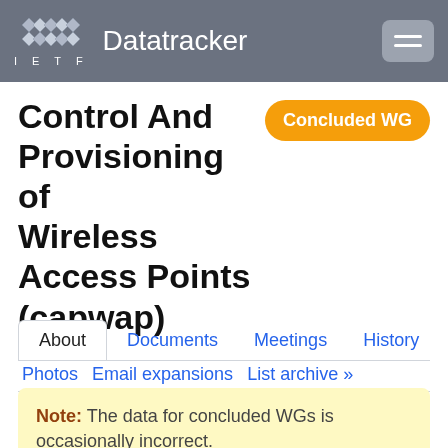IETF Datatracker
Control And Provisioning of Wireless Access Points (capwap)
Concluded WG
About  Documents  Meetings  History
Photos  Email expansions  List archive »
Note: The data for concluded WGs is occasionally incorrect.
| WG | Name | Control And Provisioning of Wireless Access Po... |
| --- | --- | --- |